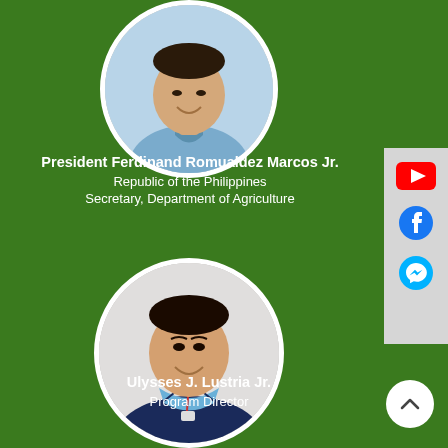[Figure (photo): Circular portrait photo of President Ferdinand Romualdez Marcos Jr., smiling, wearing a light blue polo shirt]
President Ferdinand Romualdez Marcos Jr.
Republic of the Philippines
Secretary, Department of Agriculture
[Figure (photo): Circular portrait photo of Ulysses J. Lustria Jr., wearing a navy blue vest over a light blue polo shirt with an ID lanyard]
Ulysses J. Lustria Jr.
Program Director
[Figure (infographic): Social media sidebar with YouTube, Facebook, and Facebook Messenger icons on a grey background]
[Figure (other): White circular scroll-to-top button with upward chevron arrow]